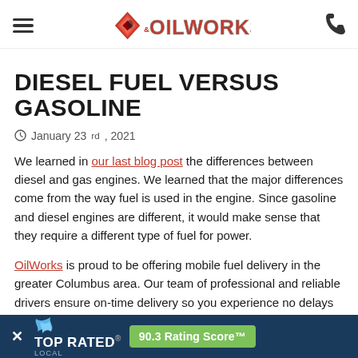OilWorks navigation header
DIESEL FUEL VERSUS GASOLINE
January 23rd, 2021
We learned in our last blog post the differences between diesel and gas engines. We learned that the major differences come from the way fuel is used in the engine. Since gasoline and diesel engines are different, it would make sense that they require a different type of fuel for power.
OilWorks is proud to be offering mobile fuel delivery in the greater Columbus area. Our team of professional and reliable drivers ensure on-time delivery so you experience no delays in your service and offerings. We have years of experience in hel with our diesel, o offer 24-hour em